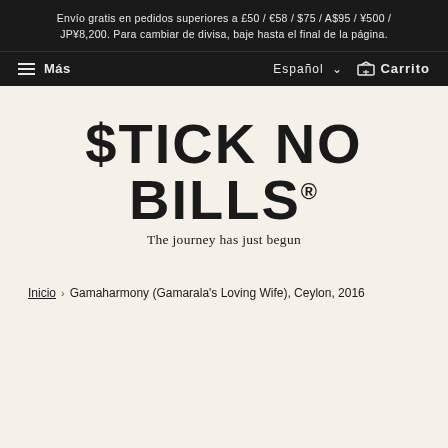Envío gratis en pedidos superiores a £50 / €58 / $75 / A$95 / ¥500 / JP¥8,200. Para cambiar de divisa, baje hasta el final de la página.
≡ Más   Español ∨   🛒 Carrito
[Figure (logo): Stick No Bills logo with stencil-style text and tagline 'The journey has just begun']
Inicio › Gamaharmony (Gamarala's Loving Wife), Ceylon, 2016